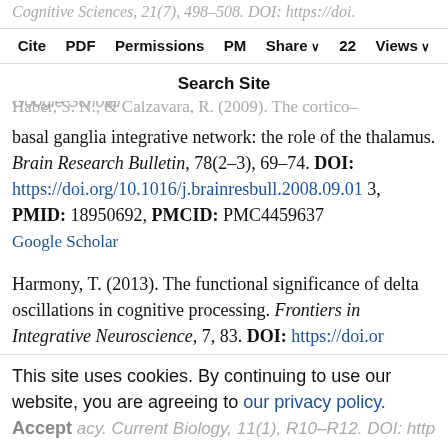Cognitive Sciences, 21(7), 498–508. DOI: https://doi.org/...18...21...22... Google Scholar
Cite PDF Permissions PM Share Views
Search Site
Haber, S. N., & Calzavara, R. (2009). The cortico–basal ganglia integrative network: the role of the thalamus. Brain Research Bulletin, 78(2–3), 69–74. DOI: https://doi.org/10.1016/j.brainresbull.2008.09.013, PMID: 18950692, PMCID: PMC4459637 Google Scholar
Harmony, T. (2013). The functional significance of delta oscillations in cognitive processing. Frontiers in Integrative Neuroscience, 7, 83. DOI: https://doi.org/10.3389/fnint.2013.00083, PMID: 24367301, PMCID: PMC3851789
This site uses cookies. By continuing to use our website, you are agreeing to our privacy policy. Accept acy. Current Biology, 11(1), R10–R12. DOI: http...